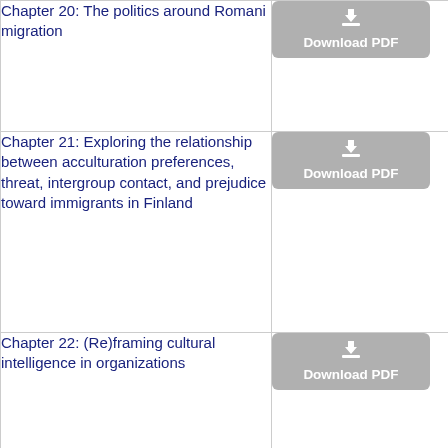Chapter 20: The politics around Romani migration
[Figure (other): Download PDF button for Chapter 20]
Chapter 21: Exploring the relationship between acculturation preferences, threat, intergroup contact, and prejudice toward immigrants in Finland
[Figure (other): Download PDF button for Chapter 21]
Chapter 22: (Re)framing cultural intelligence in organizations
[Figure (other): Download PDF button for Chapter 22]